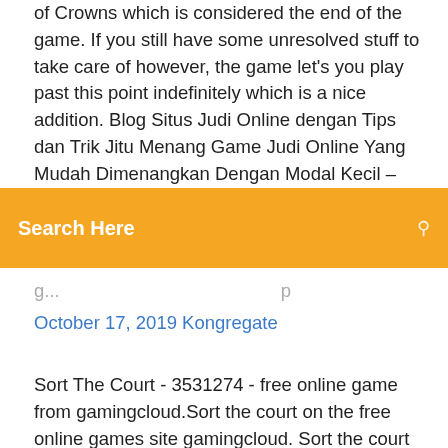of Crowns which is considered the end of the game. If you still have some unresolved stuff to take care of however, the game let's you play past this point indefinitely which is a nice addition. Blog Situs Judi Online dengan Tips dan Trik Jitu Menang Game Judi Online Yang Mudah Dimenangkan Dengan Modal Kecil – Sekarang banyak sekali orang yang bermain judi karena judi di
Search Here
October 17, 2019 Kongregate
Sort The Court - 3531274 - free online game from gamingcloud.Sort the court on the free online games site gamingcloud. Sort the court on the free online games site gamingcloud. Tags. Comments(0) This game's description and thumbnail are both copyright by it's owner site or author. The Same Title Games. Sort The Court! Sep 1st, 2016. graebor - Give your decree in simple yes or no answers Sort the Court! by